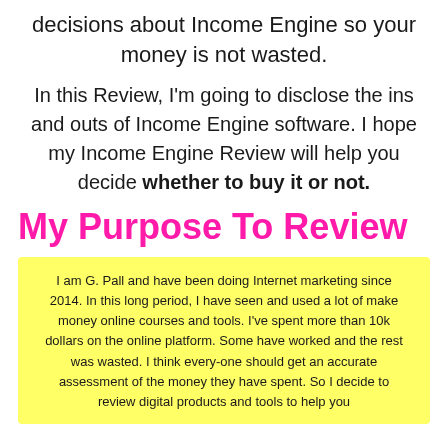decisions about Income Engine so your money is not wasted.
In this Review, I'm going to disclose the ins and outs of Income Engine software. I hope my Income Engine Review will help you decide whether to buy it or not.
My Purpose To Review
I am G. Pall and have been doing Internet marketing since 2014. In this long period, I have seen and used a lot of make money online courses and tools. I've spent more than 10k dollars on the online platform. Some have worked and the rest was wasted. I think every-one should get an accurate assessment of the money they have spent. So I decide to review digital products and tools to help you